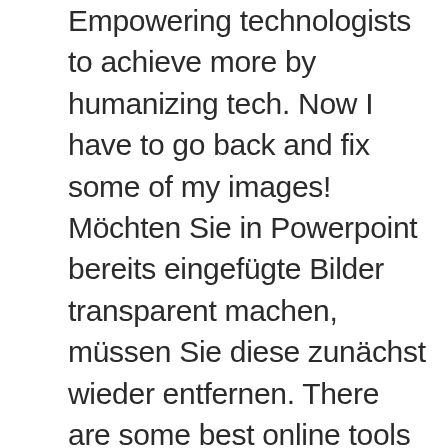Empowering technologists to achieve more by humanizing tech. Now I have to go back and fix some of my images! Möchten Sie in Powerpoint bereits eingefügte Bilder transparent machen, müssen Sie diese zunächst wieder entfernen. There are some best online tools you can found to remove the background from an image. Having the graphic selected, we can right click over the graphic or shape and then choose “Save as Picture…” option in PowerPoint. If you want to make an entire object or image more transparent, open PowerPoint and insert an image by clicking Insert > Pictures. Click on the selected image to make background transparent. PowerPoint has a hard time taking out backgrounds. The quality of